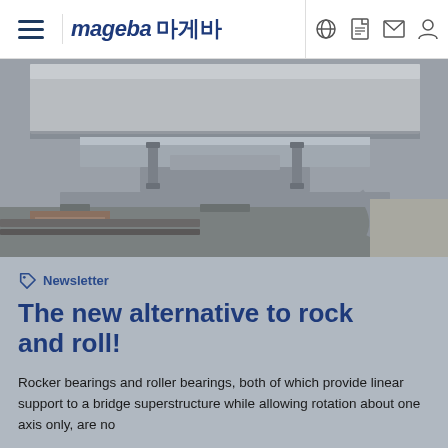mageba 마게바 [navigation icons: globe, document, email, user]
[Figure (photo): Close-up photograph of a metal bridge bearing/rocker bearing mechanism, showing steel plates, bolts, and structural components in grey tones]
Newsletter
The new alternative to rock and roll!
Rocker bearings and roller bearings, both of which provide linear support to a bridge superstructure while allowing rotation about one axis only, are no